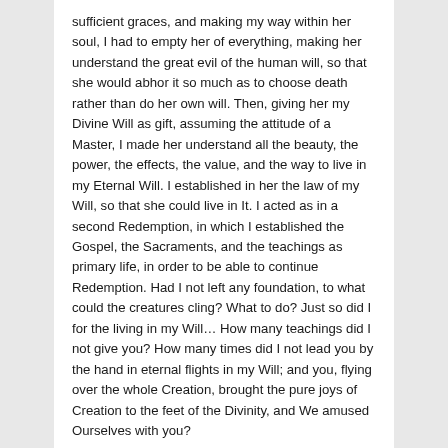sufficient graces, and making my way within her soul, I had to empty her of everything, making her understand the great evil of the human will, so that she would abhor it so much as to choose death rather than do her own will. Then, giving her my Divine Will as gift, assuming the attitude of a Master, I made her understand all the beauty, the power, the effects, the value, and the way to live in my Eternal Will. I established in her the law of my Will, so that she could live in It. I acted as in a second Redemption, in which I established the Gospel, the Sacraments, and the teachings as primary life, in order to be able to continue Redemption. Had I not left any foundation, to what could the creatures cling? What to do? Just so did I for the living in my Will… How many teachings did I not give you? How many times did I not lead you by the hand in eternal flights in my Will; and you, flying over the whole Creation, brought the pure joys of Creation to the feet of the Divinity, and We amused Ourselves with you?
Now, having chosen a creature who apparently has no great disparity from others, they will take courage. Finding